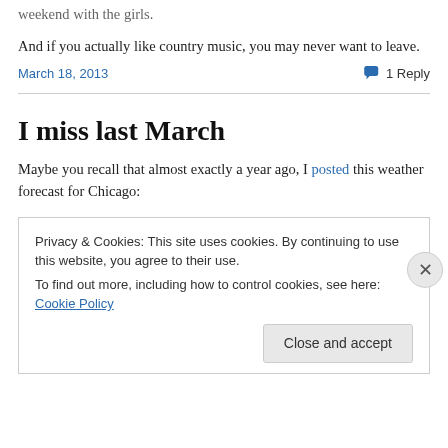weekend with the girls.
And if you actually like country music, you may never want to leave.
March 18, 2013    1 Reply
I miss last March
Maybe you recall that almost exactly a year ago, I posted this weather forecast for Chicago:
Privacy & Cookies: This site uses cookies. By continuing to use this website, you agree to their use.
To find out more, including how to control cookies, see here: Cookie Policy
Close and accept